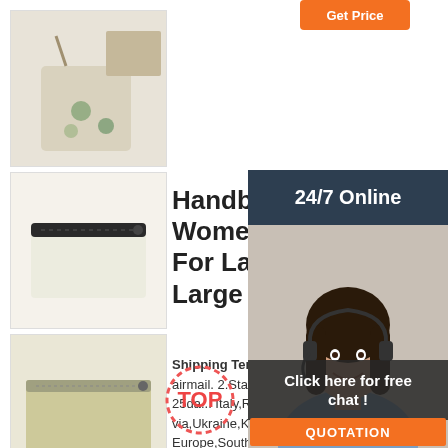[Figure (photo): Get Price orange button at top]
[Figure (photo): Thumbnail of canvas drawstring bag with prints]
[Figure (photo): Thumbnail of cream/white zipper pouch with dark zipper]
[Figure (photo): Thumbnail of beige/olive flat zipper bag]
[Figure (photo): Thumbnail of beige zipper pouch with dark zipper]
[Figure (photo): Thumbnail of cream tote bag with logo print]
Handbag For Women/Leather Bag For Lady/Fashionable Large ...
Shipping Terms: 1.Standard Shipping: China Post airmail. 2.Standard Service takes about 15-25days Italy,Russia,Israel,Argentina,Bolivia,Ukraine,Kazxakhstan,Eastern Europe,South America,Approximately 25-49days. 3.Delivery time depends on the policies affecting international holiday destination customs and other factors,it may need to be extended 10-30 days,I hope you ...
[Figure (photo): 24/7 Online customer service agent - woman with headset smiling]
24/7 Online
Click here for free chat !
QUOTATION